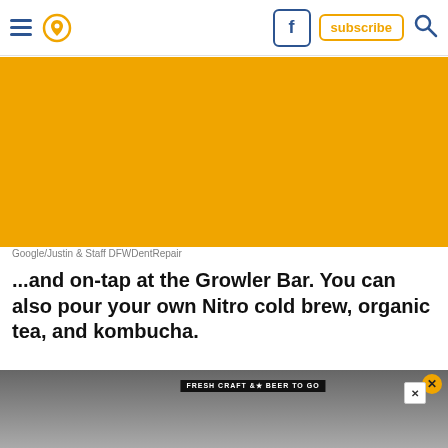Navigation bar with hamburger menu, location icon, Facebook icon, subscribe button, search icon
[Figure (photo): Orange/amber rectangular advertisement block placeholder]
Google/Justin & Staff DFWDentRepair
...and on-tap at the Growler Bar. You can also pour your own Nitro cold brew, organic tea, and kombucha.
[Figure (photo): Interior photo of a bar/restaurant with brick wall and beer taps, with an advertisement overlay for Hill's pet nutrition reading 'the best nutrients for their best life']